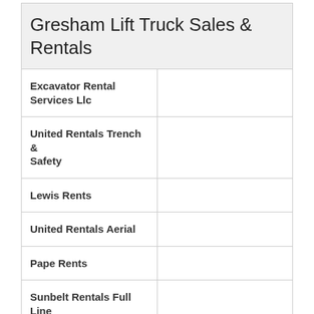Gresham Lift Truck Sales & Rentals
| Company |  |
| --- | --- |
| Excavator Rental Services Llc |  |
| United Rentals Trench & Safety |  |
| Lewis Rents |  |
| United Rentals Aerial |  |
| Pape Rents |  |
| Sunbelt Rentals Full Line Scaffold |  |
| Hertz Equipment Rental Corp. |  |
| Ahern Rentals Inc. |  |